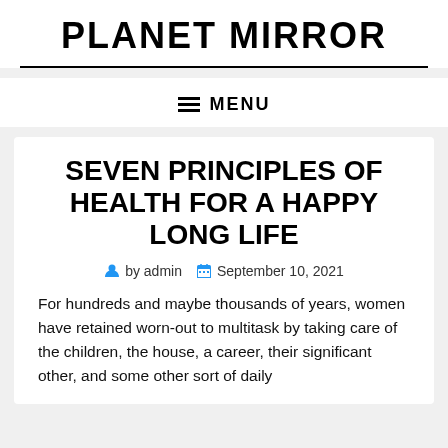PLANET MIRROR
MENU
SEVEN PRINCIPLES OF HEALTH FOR A HAPPY LONG LIFE
by admin   September 10, 2021
For hundreds and maybe thousands of years, women have retained worn-out to multitask by taking care of the children, the house, a career, their significant other, and some other sort of daily